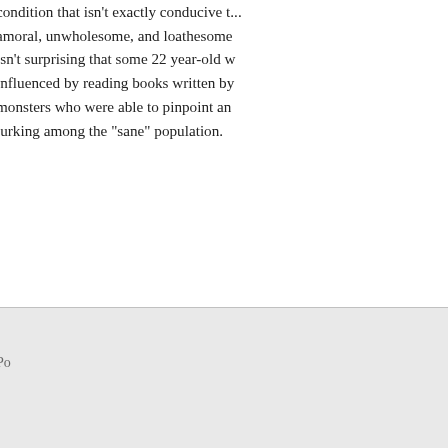condition that isn't exactly conducive to... amoral, unwholesome, and loathesome... isn't surprising that some 22 year-old w... influenced by reading books written by... monsters who were able to pinpoint an... lurking among the "sane" population.
Po
David Brooks morning Times column s... Krugman's column yesterday:
http://www.nytimes.com/2011/01/11/op...
What strikes me here is Brooks, the inv... and values, steps back from his own sh... politicize the meaning of this act. This... obvious being that this is what David B... conservatives generally have no proble... liberals, computer games, TV, the 1960... that ails us. Apparently, this "culture" d...